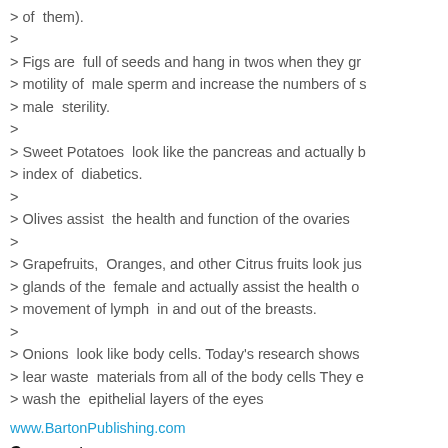> of  them).
>
> Figs are  full of seeds and hang in twos when they gr
> motility of  male sperm and increase the numbers of
> male  sterility.
>
> Sweet Potatoes  look like the pancreas and actually b
> index of  diabetics.
>
> Olives assist  the health and function of the ovaries
>
> Grapefruits,  Oranges, and other Citrus fruits look jus
> glands of the  female and actually assist the health o
> movement of lymph  in and out of the breasts.
>
> Onions  look like body cells. Today's research shows
> lear waste  materials from all of the body cells They e
> wash the  epithelial layers of the eyes
www.BartonPublishing.com
Comments